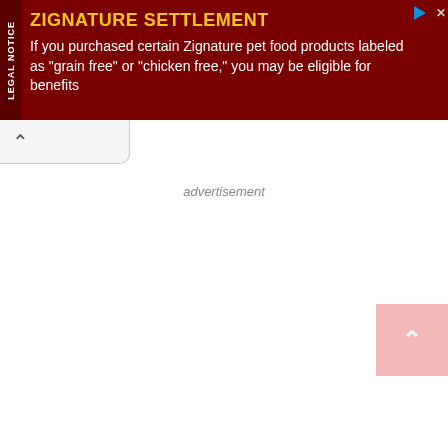[Figure (screenshot): Legal notice advertisement banner with dark red background. Left sidebar reads 'LEGAL NOTICE' vertically. Main content shows 'ZIGNATURE SETTLEMENT' in yellow bold text, followed in white text: 'If you purchased certain Zignature pet food products labeled as "grain free" or "chicken free," you may be eligible for benefits']
advertisement